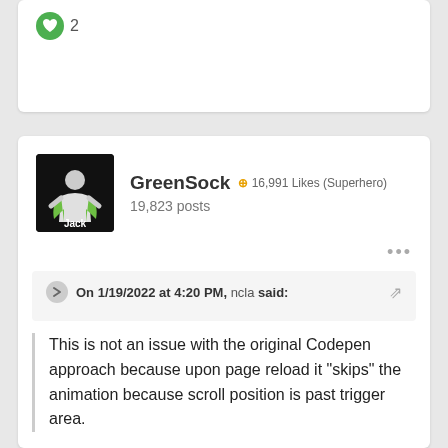[Figure (other): Partial forum post card showing a green heart/like icon with count 2]
[Figure (other): Forum post card for user GreenSock (Jack), showing avatar, username, likes badge '16,991 Likes (Superhero)', 19,823 posts, three-dot menu, and a quoted reply block from ncla on 1/19/2022 at 4:20 PM saying: This is not an issue with the original Codepen approach because upon page reload it skips the animation because scroll position is past trigger area.]